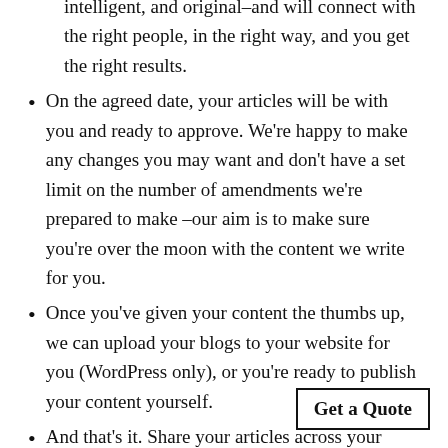intelligent, and original–and will connect with the right people, in the right way, and you get the right results.
On the agreed date, your articles will be with you and ready to approve. We're happy to make any changes you may want and don't have a set limit on the number of amendments we're prepared to make –our aim is to make sure you're over the moon with the content we write for you.
Once you've given your content the thumbs up, we can upload your blogs to your website for you (WordPress only), or you're ready to publish your content yourself.
And that's it. Share your articles across your social channels, send them out in emails and watch your website start to make its way up the search engine
Get a Quote